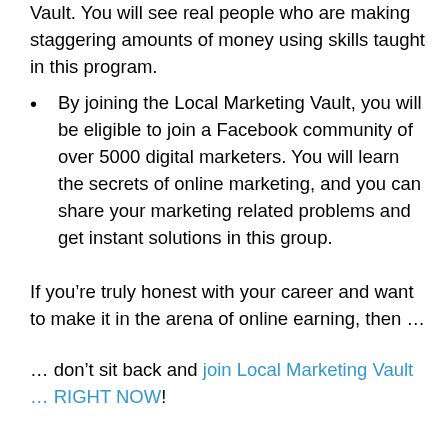Vault. You will see real people who are making staggering amounts of money using skills taught in this program.
By joining the Local Marketing Vault, you will be eligible to join a Facebook community of over 5000 digital marketers. You will learn the secrets of online marketing, and you can share your marketing related problems and get instant solutions in this group.
If you’re truly honest with your career and want to make it in the arena of online earning, then …
… don’t sit back and join Local Marketing Vault … RIGHT NOW!